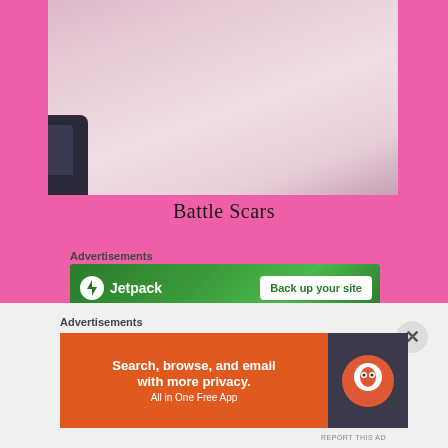[Figure (photo): Close-up photo of pale pinkish skin with a dark object (possibly a watch or band) visible at the bottom-left corner, on a hot-pink background.]
Battle Scars
Advertisements
[Figure (screenshot): Jetpack advertisement banner: green background with Jetpack logo on the left and a white 'Back up your site' button on the right.]
What seems strange to me is that after all those trips to
Advertisements
[Figure (screenshot): DuckDuckGo advertisement: orange panel with text 'Search, browse, and email with more privacy. All in One Free App' and DuckDuckGo logo on dark panel.]